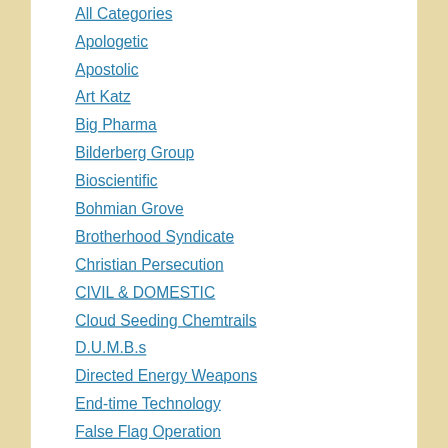All Categories
Apologetic
Apostolic
Art Katz
Big Pharma
Bilderberg Group
Bioscientific
Bohmian Grove
Brotherhood Syndicate
Christian Persecution
CIVIL & DOMESTIC
Cloud Seeding Chemtrails
D.U.M.B.s
Directed Energy Weapons
End-time Technology
False Flag Operation
False Flag Operations